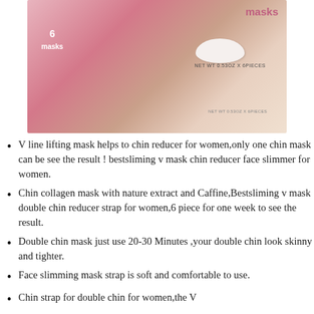[Figure (photo): Product box for V-line lifting masks, pink packaging showing 6 masks, with a chin/face mask accessory visible. Text shows 'masks', '6 masks', 'NET WT 0.53OZ X 6PIECES'.]
V line lifting mask helps to chin reducer for women,only one chin mask can be see the result ! bestsliming v mask chin reducer face slimmer for women.
Chin collagen mask with nature extract and Caffine,Bestsliming v mask double chin reducer strap for women,6 piece for one week to see the result.
Double chin mask just use 20-30 Minutes ,your double chin look skinny and tighter.
Face slimming mask strap is soft and comfortable to use.
Chin strap for double chin for women,the V